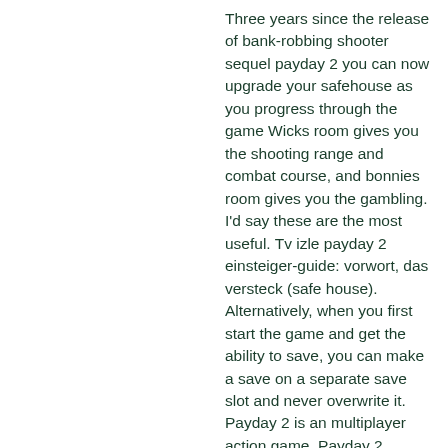Three years since the release of bank-robbing shooter sequel payday 2 you can now upgrade your safehouse as you progress through the game Wicks room gives you the shooting range and combat course, and bonnies room gives you the gambling. I'd say these are the most useful. Tv izle payday 2 einsteiger-guide: vorwort, das versteck (safe house). Alternatively, when you first start the game and get the ability to save, you can make a save on a separate save slot and never overwrite it. Payday 2 is an multiplayer action game. Payday 2 becomes more interesting with various mods. Here 20+ payday 2 mods that you can give a try. The three coffers: these can be obtained by completing the heists breakin' feds, henry's rock, and the golden. Payday 2 is a first-person shooter cooperative heist game. The new safe house...